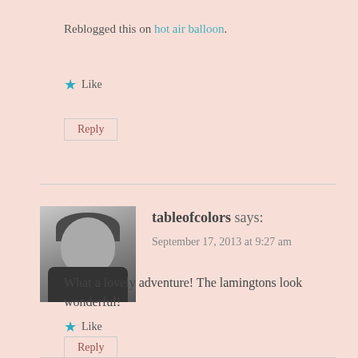Reblogged this on hot air balloon.
★ Like
Reply
[Figure (photo): Black and white profile photo of a woman]
tableofcolors says:
September 17, 2013 at 9:27 am
What a lovely adventure! The lamingtons look wonderful!
★ Like
Reply